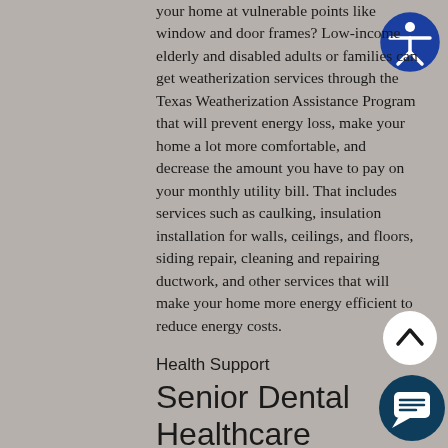your home at vulnerable points like window and door frames? Low-income elderly and disabled adults or families can get weatherization services through the Texas Weatherization Assistance Program that will prevent energy loss, make your home a lot more comfortable, and decrease the amount you have to pay on your monthly utility bill. That includes services such as caulking, insulation installation for walls, ceilings, and floors, siding repair, cleaning and repairing ductwork, and other services that will make your home more energy efficient to reduce energy costs.
Health Support
Senior Dental Healthcare Program
Website: